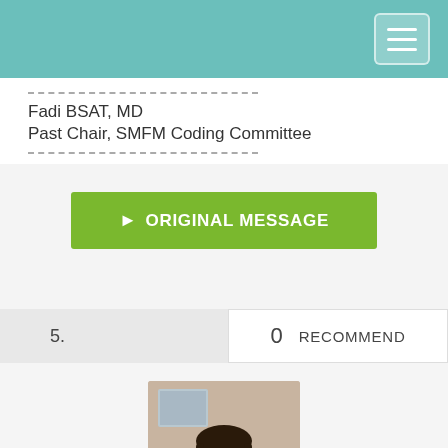Fadi BSAT, MD
Past Chair, SMFM Coding Committee
[Figure (other): Green button labeled '> ORIGINAL MESSAGE']
5.   0   RECOMMEND
[Figure (photo): Profile photo of Vanita Jain, a woman in a white coat smiling]
Vanita Jain